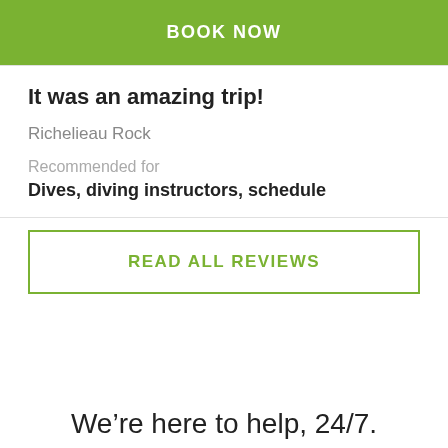BOOK NOW
It was an amazing trip!
Richelieau Rock
Recommended for
Dives, diving instructors, schedule
READ ALL REVIEWS
We're here to help, 24/7.